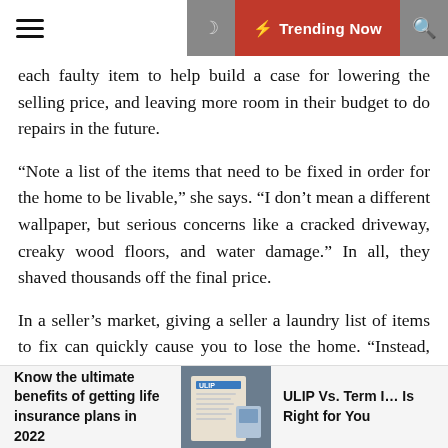Trending Now
each faulty item to help build a case for lowering the selling price, and leaving more room in their budget to do repairs in the future.
“Note a list of the items that need to be fixed in order for the home to be livable,” she says. “I don’t mean a different wallpaper, but serious concerns like a cracked driveway, creaky wood floors, and water damage.” In all, they shaved thousands off the final price.
In a seller’s market, giving a seller a laundry list of items to fix can quickly cause you to lose the home. “Instead, prioritize potential insurance issues like the roof, AC, electric, and plumbing,” says Kseniya Korneva, a licensed real estate agent in Florida. “If a home can’t be insured, then the buyer cannot obtain financing and the deal will be over.”
Know the ultimate benefits of getting life insurance plans in 2022
ULIP Vs. Term I… Is Right for You